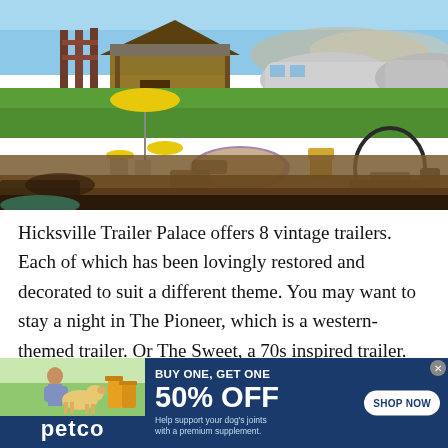[Figure (photo): Outdoor area of Hicksville Trailer Palace showing vintage Airstream trailers, a rustic cabin with yellow umbrella, colorful outdoor furniture, a fire pit, lounge chairs, and green lawn under a blue sky.]
Hicksville Trailer Palace offers 8 vintage trailers. Each of which has been lovingly restored and decorated to suit a different theme. You may want to stay a night in The Pioneer, which is a western-themed trailer. Or The Sweet, a 70s inspired trailer.
[Figure (infographic): Petco advertisement banner: BUY ONE, GET ONE 50% OFF. Help support your dog's joints with a premium supplement. SHOP NOW button. Image shows woman with golden retriever and product bottles.]